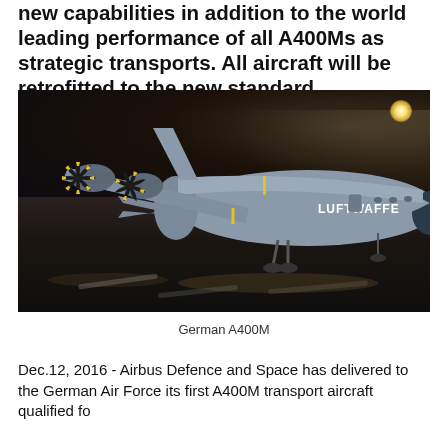new capabilities in addition to the world leading performance of all A400Ms as strategic transports. All aircraft will be retrofitted to the new standard.
[Figure (photo): Night photograph of a German Air Force (Luftwaffe) A400M military transport aircraft parked on a tarmac, lit by floodlights, with four large turboprop engines visible. The word LUFTWAFFE is printed on the fuselage.]
German A400M
Dec.12, 2016 - Airbus Defence and Space has delivered to the German Air Force its first A400M transport aircraft qualified fo